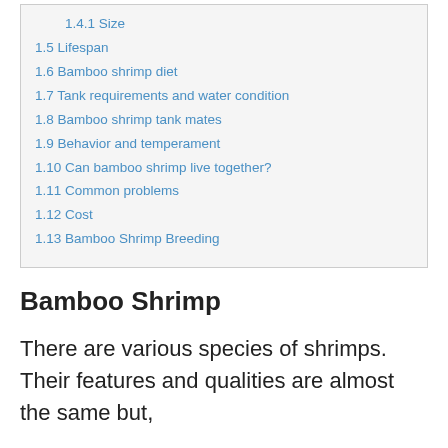1.4.1 Size
1.5 Lifespan
1.6 Bamboo shrimp diet
1.7 Tank requirements and water condition
1.8 Bamboo shrimp tank mates
1.9 Behavior and temperament
1.10 Can bamboo shrimp live together?
1.11 Common problems
1.12 Cost
1.13 Bamboo Shrimp Breeding
Bamboo Shrimp
There are various species of shrimps. Their features and qualities are almost the same but,